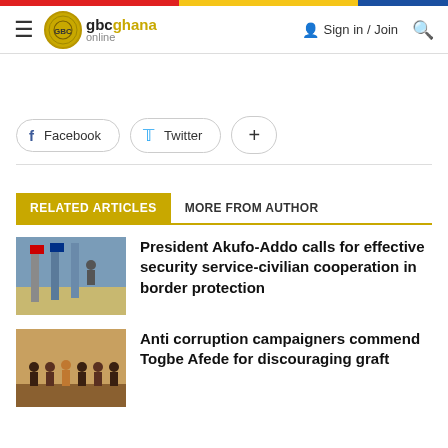gbcghana online — Sign in / Join
[Figure (screenshot): Social share buttons: Facebook, Twitter, and a plus button]
RELATED ARTICLES   MORE FROM AUTHOR
[Figure (photo): Photo of military figures near flags at a border post]
President Akufo-Addo calls for effective security service-civilian cooperation in border protection
[Figure (photo): Group photo of people at an indoor event]
Anti corruption campaigners commend Togbe Afede for discouraging graft